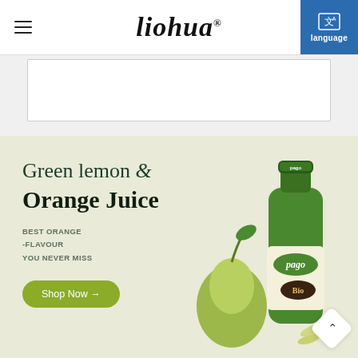liohua language
[Figure (screenshot): Empty white content box below the header navigation]
[Figure (illustration): Banner section with green lemon and orange juice promotional content featuring a Pago Bio pear juice bottle and green pear fruit. Light beige/green background.]
Green lemon & Orange Juice
BEST ORANGE
-FLAVOUR
YOU NEVER MISS
Shop Now →